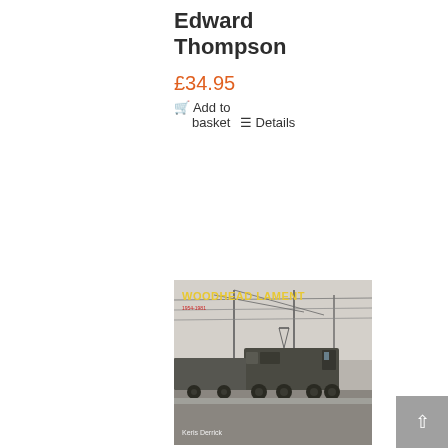Edward Thompson
£34.95
🛒 Add to basket  ☰ Details
[Figure (illustration): Book cover of 'Woodhead Lament' by Keris Derrick, showing a black and white photograph of an electric locomotive with overhead wires, with the title in yellow text and subtitle in red.]
^